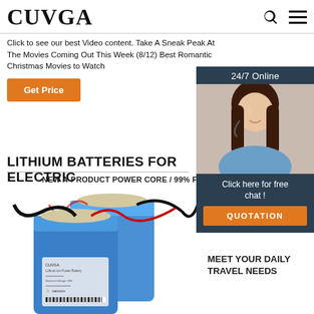CUVGA
Click to see our best Video content. Take A Sneak Peak At The Movies Coming Out This Week (8/12) Best Romantic Christmas Movies to Watch
Get Price
[Figure (photo): Customer service agent (woman with headset) with '24/7 Online' banner and 'Click here for free chat!' and 'QUOTATION' button]
LITHIUM BATTERIES FOR ELECTRIC
NEW A-PRODUCT POWER CORE / 99% FI...
[Figure (photo): Two blue lithium battery packs with black cables, CUVGA branding]
HIGH-CAPACITY LITHIUM BATTERIES
MEET YOUR DAILY TRAVEL NEEDS